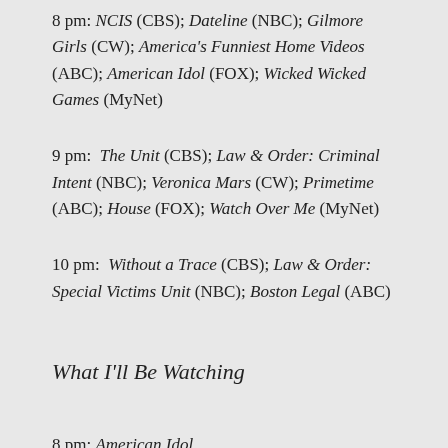8 pm: NCIS (CBS); Dateline (NBC); Gilmore Girls (CW); America's Funniest Home Videos (ABC); American Idol (FOX); Wicked Wicked Games (MyNet)
9 pm: The Unit (CBS); Law & Order: Criminal Intent (NBC); Veronica Mars (CW); Primetime (ABC); House (FOX); Watch Over Me (MyNet)
10 pm: Without a Trace (CBS); Law & Order: Special Victims Unit (NBC); Boston Legal (ABC)
What I'll Be Watching
8 pm: American Idol.
Simon, Randy, and Crazy--I mean, Paula Abdul--continue their